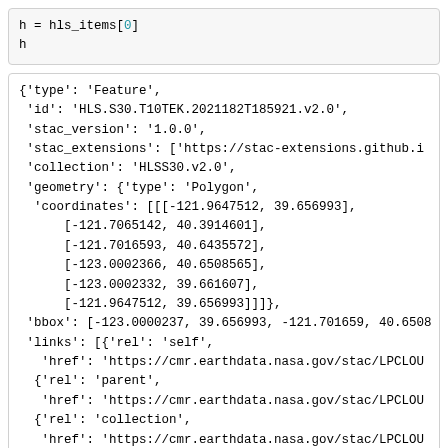h = hls_items[0]
h
{'type': 'Feature',
 'id': 'HLS.S30.T10TEK.2021182T185921.v2.0',
 'stac_version': '1.0.0',
 'stac_extensions': ['https://stac-extensions.github.i
 'collection': 'HLSS30.v2.0',
 'geometry': {'type': 'Polygon',
  'coordinates': [[[-121.9647512, 39.656993],
      [-121.7065142, 40.3914601],
      [-121.7016593, 40.6435572],
      [-123.0002366, 40.6508565],
      [-123.0002332, 39.661607],
      [-121.9647512, 39.656993]]]},
 'bbox': [-123.0000237, 39.656993, -121.701659, 40.6508
 'links': [{'rel': 'self',
   'href': 'https://cmr.earthdata.nasa.gov/stac/LPCLOU
  {'rel': 'parent',
   'href': 'https://cmr.earthdata.nasa.gov/stac/LPCLOU
  {'rel': 'collection',
   'href': 'https://cmr.earthdata.nasa.gov/stac/LPCLOU